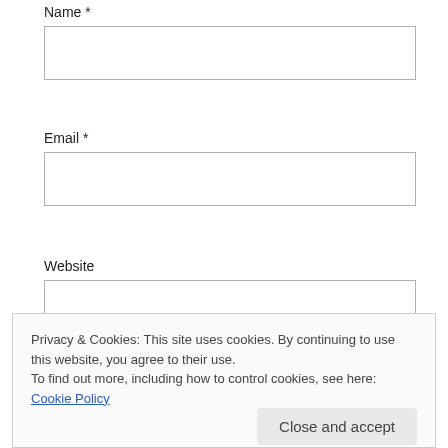Name *
Email *
Website
Post Comment
Privacy & Cookies: This site uses cookies. By continuing to use this website, you agree to their use.
To find out more, including how to control cookies, see here: Cookie Policy
Close and accept